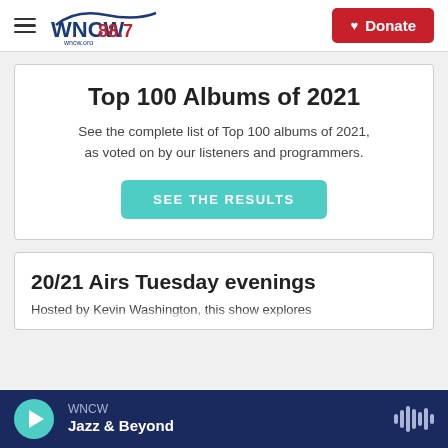WNCW 88.7 | wncw.org | Donate
Top 100 Albums of 2021
See the complete list of Top 100 albums of 2021, as voted on by our listeners and programmers.
SEE THE RESULTS
20/21 Airs Tuesday evenings
Hosted by Kevin Washington, this show explores
WNCW | Jazz & Beyond